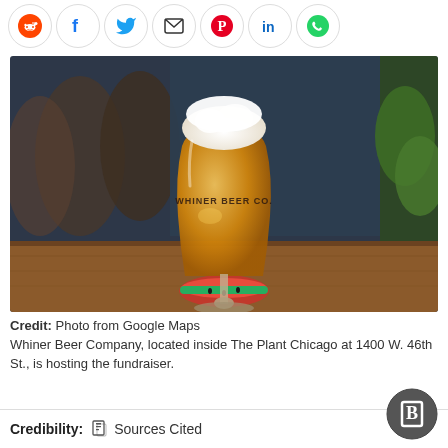[Figure (other): Social media share buttons: Reddit, Facebook, Twitter, Email, Pinterest, LinkedIn, WhatsApp]
[Figure (photo): A tulip-shaped beer glass with 'Whiner Beer Co' printed on it, filled with golden beer and a white foam head, sitting on a wooden surface next to a slice of watermelon, with blurred barrels and greenery in the background.]
Credit: Photo from Google Maps
Whiner Beer Company, located inside The Plant Chicago at 1400 W. 46th St., is hosting the fundraiser.
Credibility:  Sources Cited